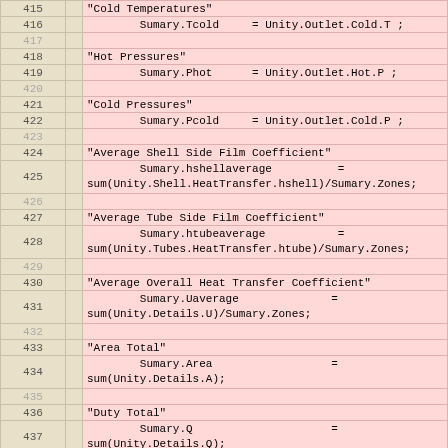| line | spacer | code |
| --- | --- | --- |
| 415 |  | "Cold Temperatures" |
| 416 |  |         Sumary.Tcold     = Unity.Outlet.Cold.T ; |
| 417 |  |  |
| 418 |  | "Hot Pressures" |
| 419 |  |         Sumary.Phot      = Unity.Outlet.Hot.P ; |
| 420 |  |  |
| 421 |  | "Cold Pressures" |
| 422 |  |         Sumary.Pcold     = Unity.Outlet.Cold.P ; |
| 423 |  |  |
| 424 |  | "Average Shell Side Film Coefficient" |
| 425 |  |         Sumary.hshellaverage          =
sum(Unity.Shell.HeatTransfer.hshell)/Sumary.Zones; |
| 426 |  |  |
| 427 |  | "Average Tube Side Film Coefficient" |
| 428 |  |         Sumary.htubeaverage           =
sum(Unity.Tubes.HeatTransfer.htube)/Sumary.Zones; |
| 429 |  |  |
| 430 |  | "Average Overall Heat Transfer Coefficient" |
| 431 |  |         Sumary.Uaverage              =
sum(Unity.Details.U)/Sumary.Zones; |
| 432 |  |  |
| 433 |  | "Area Total" |
| 434 |  |         Sumary.Area                  =
sum(Unity.Details.A); |
| 435 |  |  |
| 436 |  | "Duty Total" |
| 437 |  |         Sumary.Q                     =
sum(Unity.Details.Q); |
| 438 |  |  |
| 439 |  | "Length Inlet zone" |
| 440 |  |         Sumary.Lz(1)                 =
Unity(1).Baffles.Lsi; |
| 441 |  |  |
| 442 |  | "Length Outlet zone" |